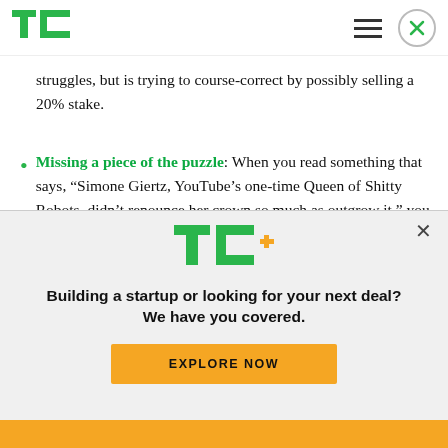TechCrunch
struggles, but is trying to course-correct by possibly selling a 20% stake.
Missing a piece of the puzzle: When you read something that says, “Simone Giertz, YouTube’s one-time Queen of Shitty Robots, didn’t renounce her crown so much as outgrow it,” you continue. What follows is a delightful discussion that Brian
[Figure (logo): TC+ logo with green TC and orange plus sign]
Building a startup or looking for your next deal? We have you covered.
EXPLORE NOW